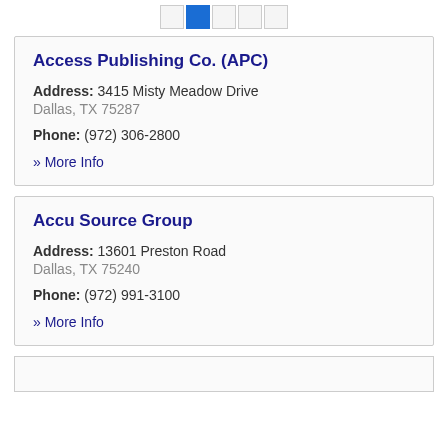pagination controls
Access Publishing Co. (APC)
Address: 3415 Misty Meadow Drive
Dallas, TX 75287
Phone: (972) 306-2800
» More Info
Accu Source Group
Address: 13601 Preston Road
Dallas, TX 75240
Phone: (972) 991-3100
» More Info